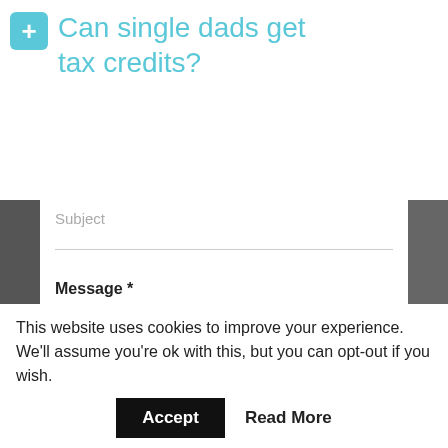Can single dads get tax credits?
Subject
Message *
Your Message
SEND MESSAGE
This website uses cookies to improve your experience. We'll assume you're ok with this, but you can opt-out if you wish.
Accept
Read More